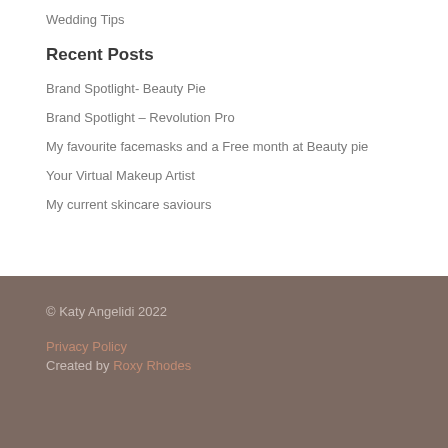Wedding Tips
Recent Posts
Brand Spotlight- Beauty Pie
Brand Spotlight – Revolution Pro
My favourite facemasks and a Free month at Beauty pie
Your Virtual Makeup Artist
My current skincare saviours
© Katy Angelidi 2022
Privacy Policy
Created by Roxy Rhodes